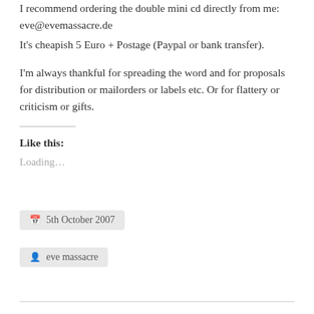I recommend ordering the double mini cd directly from me: eve@evemassacre.de
It's cheapish 5 Euro + Postage (Paypal or bank transfer).
I'm always thankful for spreading the word and for proposals for distribution or mailorders or labels etc. Or for flattery or criticism or gifts.
Like this:
Loading...
5th October 2007
eve massacre